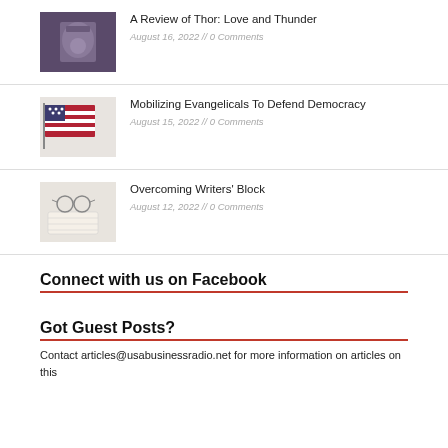A Review of Thor: Love and Thunder
August 16, 2022 // 0 Comments
Mobilizing Evangelicals To Defend Democracy
August 15, 2022 // 0 Comments
Overcoming Writers' Block
August 12, 2022 // 0 Comments
Connect with us on Facebook
Got Guest Posts?
Contact articles@usabusinessradio.net for more information on articles on this